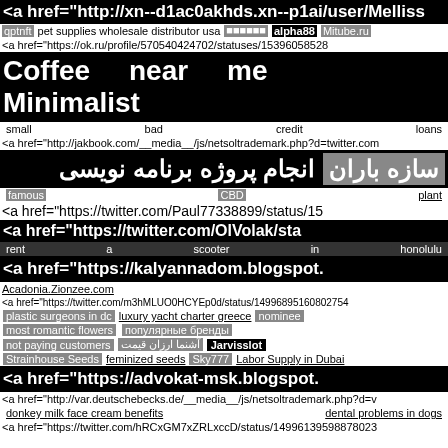<a href="http://xn--d1ac0akhds.xn--p1ai/user/Melliss
qptnft  pet supplies wholesale distributor usa  ██████  alpha88  Mitube.ru
<a href="https://ok.ru/profile/570540424702/statuses/15396058528
Coffee   near   me   Minimalist
small   bad   credit   loans
<a href="http://jakbook.com/__media__/js/netsoltrademark.php?d=twitter.com
سازه باران   انجام پروژه برنامه نویسی
famous   CBD   plant
<a href="https://twitter.com/Paul77338899/status/15
<a href="https://twitter.com/OlVolak/sta
rent   a   scooter   in   honolulu
<a href="https://kalyannadom.blogspot.
Acadonia.Zionzee.com
<a href="https://twitter.com/m3hMLUO0HCYEp0d/status/14996895160802754
plastic surgeons in dc   luxury yacht charter greece   nominee
most romantic flowers   популярные бренды
not paying customers   آشنما ارزان قیمت   Jarvisslot
Strainhouse Seeds   feminized seeds   Sky777   Labor Supply in Dubai
<a href="https://advokat-msk.blogspot.
<a href="http://var.deutschebecks.de/__media__/js/netsoltrademark.php?d=v
donkey milk face cream benefits   dental problems in dogs
<a href="https://twitter.com/hRCxGM7xZRLxccD/status/14996139598878023